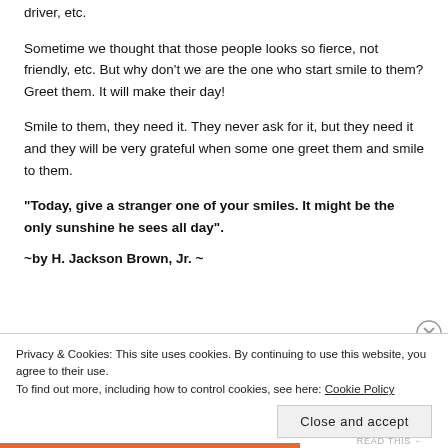driver, etc.
Sometime we thought that those people looks so fierce, not friendly, etc. But why don’t we are the one who start smile to them? Greet them. It will make their day!
Smile to them, they need it. They never ask for it, but they need it and they will be very grateful when some one greet them and smile to them.
“Today, give a stranger one of your smiles.  It might be the only sunshine he sees all day”.
~by H. Jackson Brown, Jr. ~
Privacy & Cookies: This site uses cookies. By continuing to use this website, you agree to their use.
To find out more, including how to control cookies, see here: Cookie Policy
Close and accept